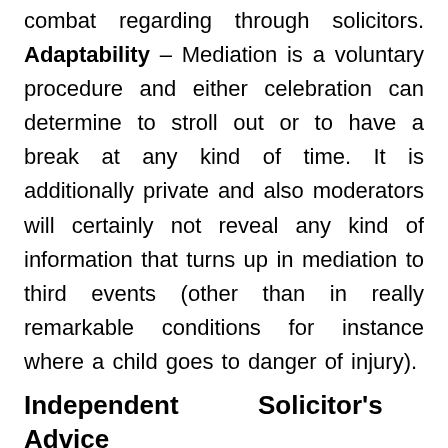combat regarding through solicitors. Adaptability – Mediation is a voluntary procedure and either celebration can determine to stroll out or to have a break at any kind of time. It is additionally private and also moderators will certainly not reveal any kind of information that turns up in mediation to third events (other than in really remarkable conditions for instance where a child goes to danger of injury).
Independent Solicitor's Advice
Conflict including 2 or more countries can definitely be solved via mediation. As a matter of fact, costs as well as time